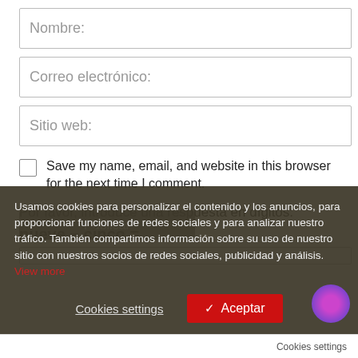Nombre:
Correo electrónico:
Sitio web:
Save my name, email, and website in this browser for the next time I comment.
Por favor, introduce una respuesta en dígitos:
Usamos cookies para personalizar el contenido y los anuncios, para proporcionar funciones de redes sociales y para analizar nuestro tráfico. También compartimos información sobre su uso de nuestro sitio con nuestros socios de redes sociales, publicidad y análisis. View more
Cookies settings
✓ Aceptar
Cookies settings